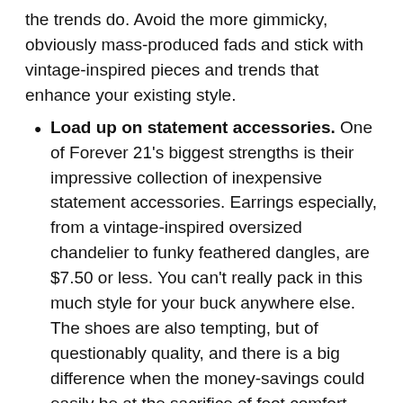the trends do. Avoid the more gimmicky, obviously mass-produced fads and stick with vintage-inspired pieces and trends that enhance your existing style.
Load up on statement accessories. One of Forever 21's biggest strengths is their impressive collection of inexpensive statement accessories. Earrings especially, from a vintage-inspired oversized chandelier to funky feathered dangles, are $7.50 or less. You can't really pack in this much style for your buck anywhere else. The shoes are also tempting, but of questionably quality, and there is a big difference when the money-savings could easily be at the sacrifice of foot comfort. Check the Forever 21 coupons online for constantly updated coupons.
Dabble in denim. Got a hankering for acid-washed